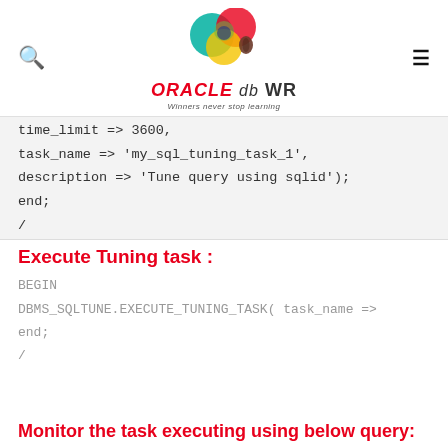ORACLE db WR — Winners never stop learning
time_limit => 3600,
task_name => 'my_sql_tuning_task_1',
description => 'Tune query using sqlid');
end;
/
Execute Tuning task :
BEGIN
DBMS_SQLTUNE.EXECUTE_TUNING_TASK( task_name =>
end;
/
Monitor the task executing using below query: